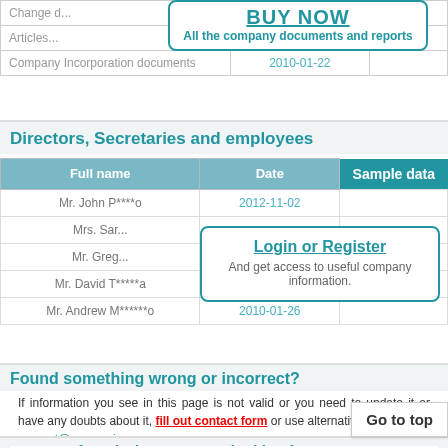|  |  |  |
| --- | --- | --- |
| Change d... |  |  |
| Articles... |  |  |
| Company Incorporation documents | 2010-01-22 |  |
[Figure (other): BUY NOW promotional box with text: 'All the company documents and reports']
Directors, Secretaries and employees
| Full name | Date | Co... |
| --- | --- | --- |
| Mr. John P****o | 2012-11-02 |  |
| Mrs. Sar... |  |  |
| Mr. Greg... |  |  |
| Mr. David T*****a | 2010-01-26 |  |
| Mr. Andrew M******o | 2010-01-26 |  |
[Figure (other): Login or Register box: 'And get access to useful company information.']
[Figure (other): Sample data button]
Found something wrong or incorrect?
If information you see in this page is not valid or you need to update it or have any doubts about it, fill out contact form or use alternative... support@companiesau.com
[Figure (other): Go to top button]
Have not found what you were looking for?
Try our search: